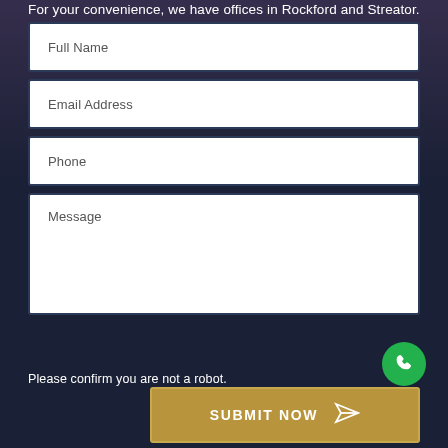For your convenience, we have offices in Rockford and Streator.
Full Name
Email Address
Phone
Message
Please confirm you are not a robot.
SUBMIT NOW